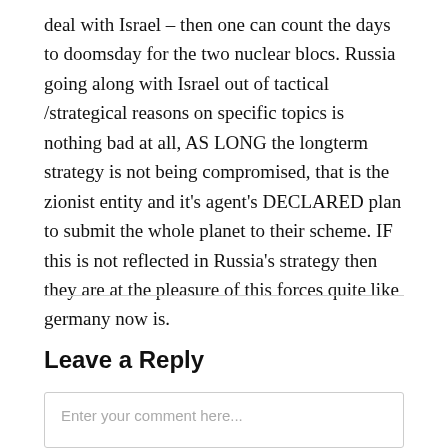deal with Israel – then one can count the days to doomsday for the two nuclear blocs. Russia going along with Israel out of tactical /strategical reasons on specific topics is nothing bad at all, AS LONG the longterm strategy is not being compromised, that is the zionist entity and it's agent's DECLARED plan to submit the whole planet to their scheme. IF this is not reflected in Russia's strategy then they are at the pleasure of this forces quite like germany now is.
Leave a Reply